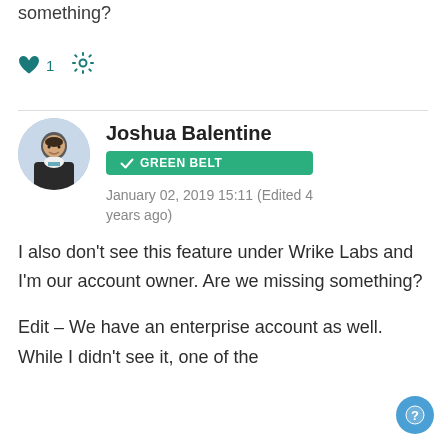something?
[Figure (infographic): Heart icon with count 1 and gear/settings icon]
Joshua Balentine
[Figure (infographic): Green belt badge with checkmark]
January 02, 2019 15:11 (Edited 4 years ago)
I also don't see this feature under Wrike Labs and I'm our account owner. Are we missing something?
Edit – We have an enterprise account as well. While I didn't see it, one of the